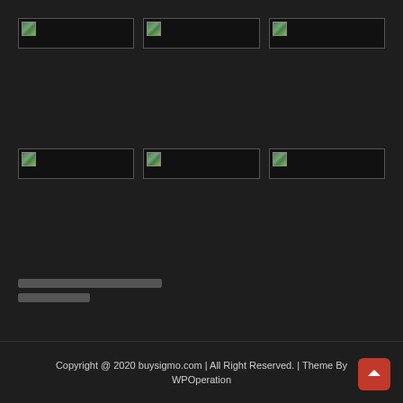[Figure (photo): Three broken/missing image placeholders in a row (top row)]
[Figure (photo): Three broken/missing image placeholders in a row (middle row)]
text line 1 (obscured)
text line 2 (obscured)
Copyright @ 2020 buysigmo.com | All Right Reserved. | Theme By WPOperation